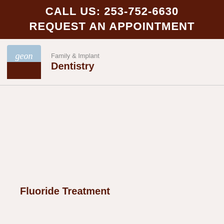CALL US: 253-752-6630
REQUEST AN APPOINTMENT
[Figure (logo): Geon Family & Implant Dentistry logo with blue square icon and cursive text, alongside 'Family & Implant Dentistry' text]
Fluoride Treatment